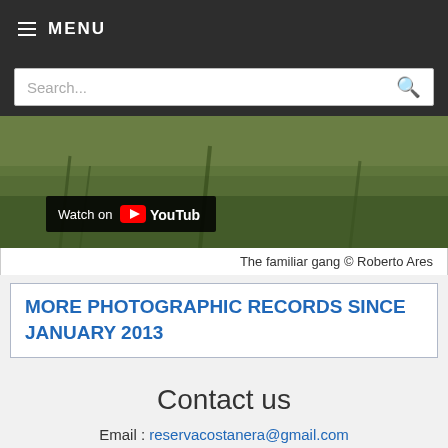≡ MENU
Search...
[Figure (screenshot): YouTube video thumbnail showing a nature scene with green vegetation and water. A 'Watch on YouTube' button overlay is visible at bottom left.]
The familiar gang © Roberto Ares
MORE PHOTOGRAPHIC RECORDS SINCE JANUARY 2013
Contact us
Email : reservacostanera@gmail.com
[Figure (logo): StatCounter logo with visitor count 971996 and green progress bar]
971996